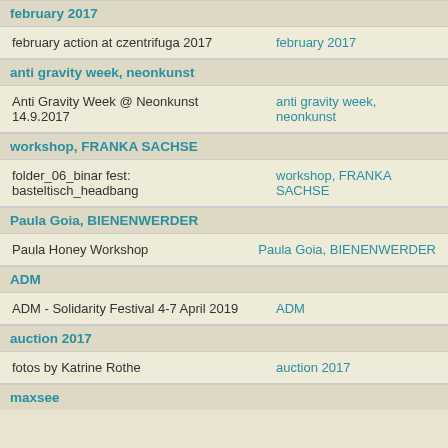february 2017
|  |  |
| --- | --- |
| february action at czentrifuga 2017 | february 2017 |
anti gravity week, neonkunst
|  |  |
| --- | --- |
| Anti Gravity Week @ Neonkunst 14.9.2017 | anti gravity week, neonkunst |
workshop, FRANKA SACHSE
|  |  |
| --- | --- |
| folder_06_binar fest: basteltisch_headbang | workshop, FRANKA SACHSE |
Paula Goia, BIENENWERDER
|  |  |
| --- | --- |
| Paula Honey Workshop | Paula Goia, BIENENWERDER |
ADM
|  |  |
| --- | --- |
| ADM - Solidarity Festival 4-7 April 2019 | ADM |
auction 2017
|  |  |
| --- | --- |
| fotos by Katrine Rothe | auction 2017 |
maxsee